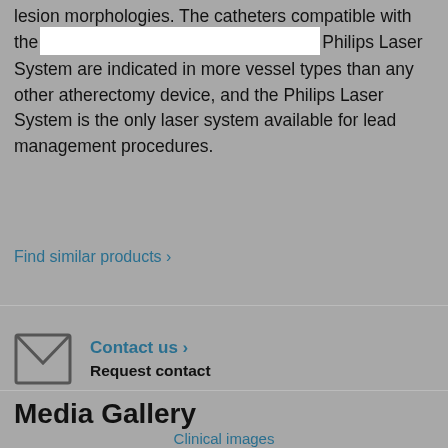lesion morphologies. The catheters compatible with the Philips Laser System are indicated in more vessel types than any other atherectomy device, and the Philips Laser System is the only laser system available for lead management procedures.
Find similar products ›
Contact us › Request contact
Media Gallery
Clinical images